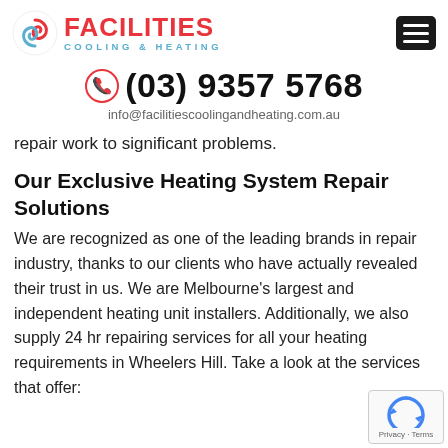[Figure (logo): Facilities Cooling & Heating logo with red swirl icon and hamburger menu button]
(03) 9357 5768
info@facilitiescoolingandheating.com.au
repair work to significant problems.
Our Exclusive Heating System Repair Solutions
We are recognized as one of the leading brands in repair industry, thanks to our clients who have actually revealed their trust in us. We are Melbourne's largest and independent heating unit installers. Additionally, we also supply 24 hr repairing services for all your heating requirements in Wheelers Hill. Take a look at the services that offer: